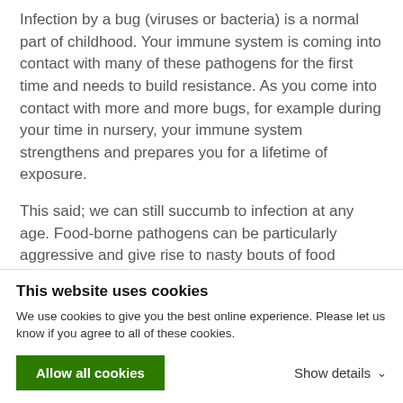Infection by a bug (viruses or bacteria) is a normal part of childhood. Your immune system is coming into contact with many of these pathogens for the first time and needs to build resistance. As you come into contact with more and more bugs, for example during your time in nursery, your immune system strengthens and prepares you for a lifetime of exposure.
This said; we can still succumb to infection at any age. Food-borne pathogens can be particularly aggressive and give rise to nasty bouts of food poisoning. Food poisoning often causes vomiting and acute diarrhoea. We are particularly vulnerable when travelling abroad to new countries so should be careful to avoid tap water and other
This website uses cookies
We use cookies to give you the best online experience. Please let us know if you agree to all of these cookies.
Allow all cookies
Show details